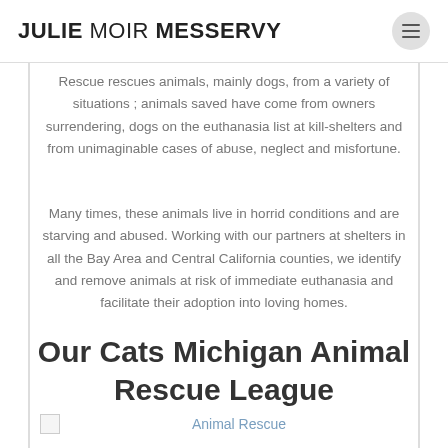JULIE MOIR MESSERVY
Rescue rescues animals, mainly dogs, from a variety of situations ; animals saved have come from owners surrendering, dogs on the euthanasia list at kill-shelters and from unimaginable cases of abuse, neglect and misfortune.
Many times, these animals live in horrid conditions and are starving and abused. Working with our partners at shelters in all the Bay Area and Central California counties, we identify and remove animals at risk of immediate euthanasia and facilitate their adoption into loving homes.
Our Cats Michigan Animal Rescue League
[Figure (photo): Broken image placeholder with caption 'Animal Rescue']
Animal Rescue